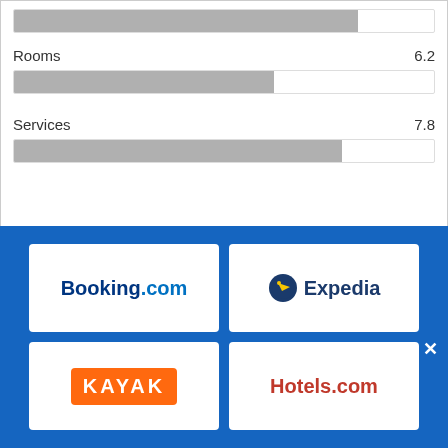[Figure (bar-chart): Ratings overview]
Who stays here?
[Figure (bar-chart): Who stays here?]
[Figure (logo): Logos of booking platforms: Booking.com, Expedia, KAYAK, Hotels.com on blue background]